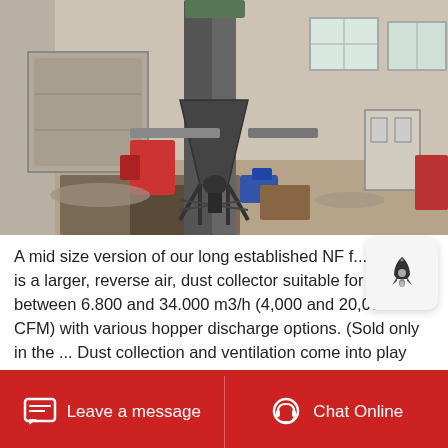[Figure (photo): Industrial interior showing a large dust collector/cyclone separator system with metal ducting and support structure in a warehouse-like facility with windows and sandy floor]
A mid size version of our long established NF f... The CS is a larger, reverse air, dust collector suitable for airflows between 6.800 and 34.000 m3/h (4,000 and 20,000 CFM) with various hopper discharge options. (Sold only in the ... Dust collection and ventilation come into play particle capture and collection systems (dry) are effectively...
Leave a message  |  Chat Online